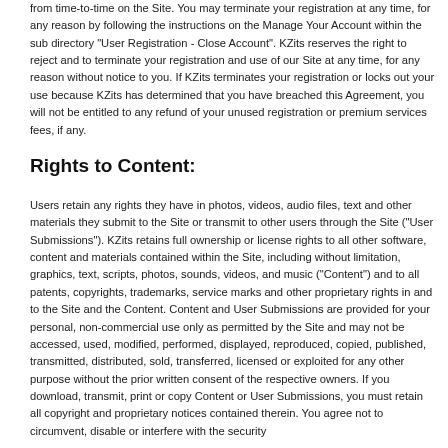from time-to-time on the Site. You may terminate your registration at any time, for any reason by following the instructions on the Manage Your Account within the sub directory "User Registration - Close Account". KZits reserves the right to reject and to terminate your registration and use of our Site at any time, for any reason without notice to you. If KZits terminates your registration or locks out your use because KZits has determined that you have breached this Agreement, you will not be entitled to any refund of your unused registration or premium services fees, if any.
Rights to Content:
Users retain any rights they have in photos, videos, audio files, text and other materials they submit to the Site or transmit to other users through the Site ("User Submissions"). KZits retains full ownership or license rights to all other software, content and materials contained within the Site, including without limitation, graphics, text, scripts, photos, sounds, videos, and music ("Content") and to all patents, copyrights, trademarks, service marks and other proprietary rights in and to the Site and the Content. Content and User Submissions are provided for your personal, non-commercial use only as permitted by the Site and may not be accessed, used, modified, performed, displayed, reproduced, copied, published, transmitted, distributed, sold, transferred, licensed or exploited for any other purpose without the prior written consent of the respective owners. If you download, transmit, print or copy Content or User Submissions, you must retain all copyright and proprietary notices contained therein. You agree not to circumvent, disable or interfere with the security